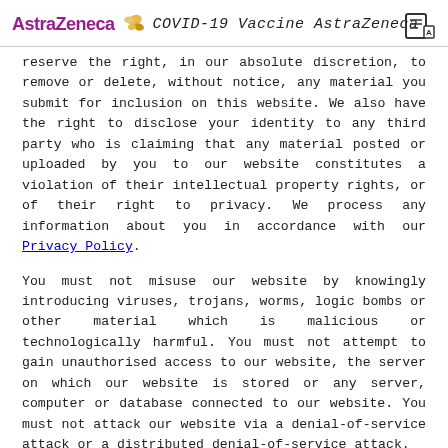AstraZeneca | COVID-19 Vaccine AstraZeneca
reserve the right, in our absolute discretion, to remove or delete, without notice, any material you submit for inclusion on this website. We also have the right to disclose your identity to any third party who is claiming that any material posted or uploaded by you to our website constitutes a violation of their intellectual property rights, or of their right to privacy. We process any information about you in accordance with our Privacy Policy.
You must not misuse our website by knowingly introducing viruses, trojans, worms, logic bombs or other material which is malicious or technologically harmful. You must not attempt to gain unauthorised access to our website, the server on which our website is stored or any server, computer or database connected to our website. You must not attack our website via a denial-of-service attack or a distributed denial-of-service attack.
By breaching this provision, you may commit a criminal offence under the